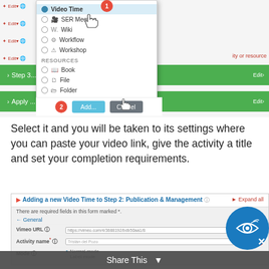[Figure (screenshot): Moodle LMS interface showing an activity/resource selection dropdown with options including Wiki, Workflow, Workshop under Activities, and Book, File, Folder under Resources. A cursor hand points to 'Video Time' option (highlighted). Two red numbered badges (1 and 2) indicate steps. An Add and Cancel button appear at the bottom of the dialog.]
Select it and you will be taken to its settings where you can paste your video link, give the activity a title and set your completion requirements.
[Figure (screenshot): Moodle form for 'Adding a new Video Time to Step 2: Publication & Management'. Shows fields including Vimeo URL (with a URL entered) marked with badge 1, Activity name field marked with badge 2, and Mode field below. An Expand all link appears top right. General section is expanded.]